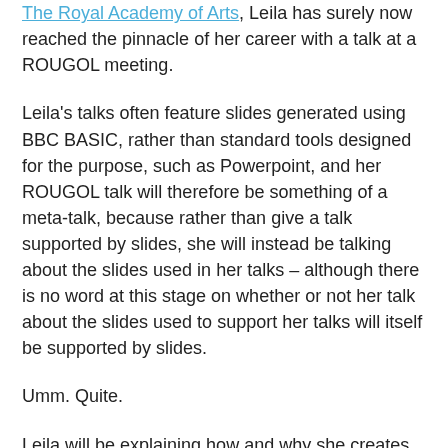Ava Lovelace, considered the world's first computer programmer), The Royal Institution, and The Royal Academy of Arts, Leila has surely now reached the pinnacle of her career with a talk at a ROUGOL meeting.
Leila's talks often feature slides generated using BBC BASIC, rather than standard tools designed for the purpose, such as Powerpoint, and her ROUGOL talk will therefore be something of a meta-talk, because rather than give a talk supported by slides, she will instead be talking about the slides used in her talks – although there is no word at this stage on whether or not her talk about the slides used to support her talks will itself be supported by slides.
Umm. Quite.
Leila will be explaining how and why she creates the slides this way, as well as why programming should be considered both a creative and a fun pastime (something that it is – but perhaps the point is to get that across to others).